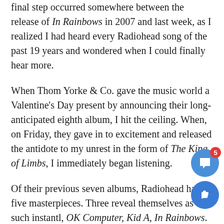final step occurred somewhere between the release of In Rainbows in 2007 and last week, as I realized I had heard every Radiohead song of the past 19 years and wondered when I could finally hear more.
When Thom Yorke & Co. gave the music world a Valentine's Day present by announcing their long-anticipated eighth album, I hit the ceiling. When, on Friday, they gave in to excitement and released the antidote to my unrest in the form of The King of Limbs, I immediately began listening.
Of their previous seven albums, Radiohead has five masterpieces. Three reveal themselves as such instantl, OK Computer, Kid A, In Rainbows. The other two, The Bends and Amnesiac, seem incomparable to these when first heard. However, after devoted listening, they become somewhat of a religious experience. The King of Limbs, which I do believe to be a masterpiece, falls in this second category. While it may be off-putting on first play, few listens will make you love it. Then it will do what every g.